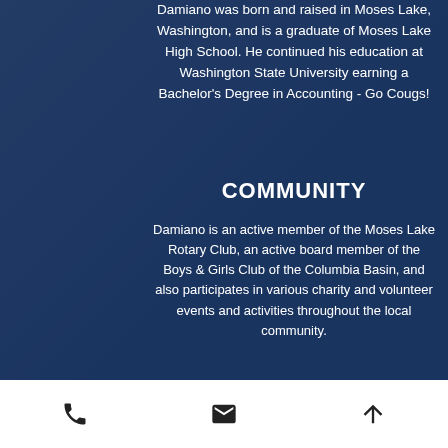Damiano was born and raised in Moses Lake, Washington, and is a graduate of Moses Lake High School. He continued his education at Washington State University earning a Bachelor's Degree in Accounting - Go Cougs!
COMMUNITY
Damiano is an active member of the Moses Lake Rotary Club, an active board member of the Boys & Girls Club of the Columbia Basin, and also participates in various charity and volunteer events and activities throughout the local community.
phone | email | up